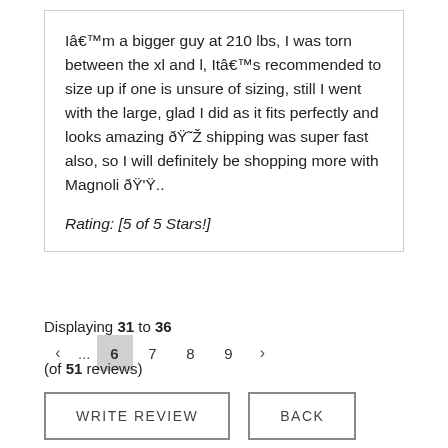Iâ€™m a bigger guy at 210 lbs, I was torn between the xl and l, Itâ€™s recommended to size up if one is unsure of sizing, still I went with the large, glad I did as it fits perfectly and looks amazing ðŸ˜Ž shipping was super fast also, so I will definitely be shopping more with Magnoli ðŸ'Ÿ..
Rating: [5 of 5 Stars!]
Displaying 31 to 36 (of 51 reviews)
← ... 6 7 8 9 →
WRITE REVIEW
BACK